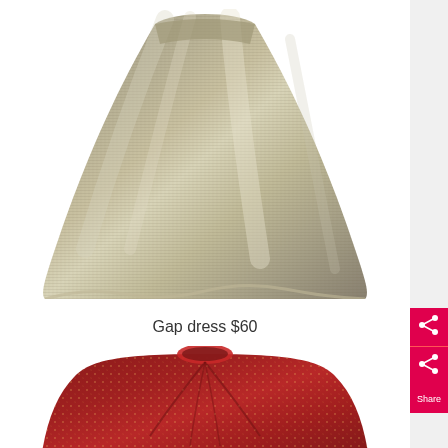[Figure (photo): A silver/gold metallic sparkly dress skirt, flared A-line shape, on a white background]
Gap dress $60
[Figure (photo): A dark red/burgundy sparkly top with small gold dots/sequins, gathered/pleated fabric with a round neckline, on a white background]